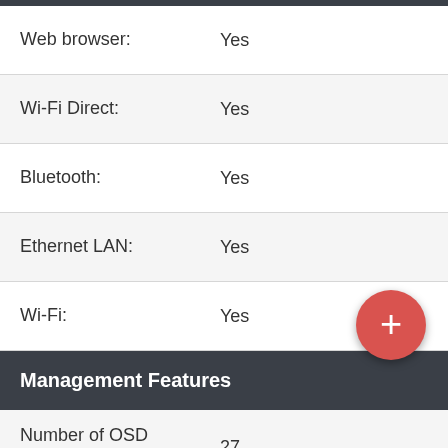| Feature | Value |
| --- | --- |
| Web browser: | Yes |
| Wi-Fi Direct: | Yes |
| Bluetooth: | Yes |
| Ethernet LAN: | Yes |
| Wi-Fi: | Yes |
Management Features
| Feature | Value |
| --- | --- |
| Number of OSD languages: | 27 |
| On Screen Display (OSD): | Yes |
[Figure (other): Red circular floating action button with white plus sign]